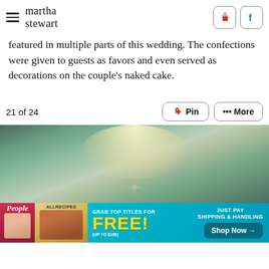martha stewart
featured in multiple parts of this wedding. The confections were given to guests as favors and even served as decorations on the couple's naked cake.
21 of 24
[Figure (photo): Forest scene with soft glowing light filtering through trees, blurred background with bokeh effect]
[Figure (infographic): Advertisement banner: Grab top titles for FREE (up to $100), Just Pay Shipping & Handling, Shop Now button. Features People and allrecipes magazine covers.]